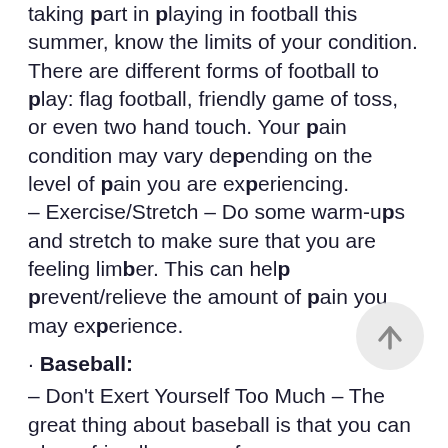taking part in playing in football this summer, know the limits of your condition. There are different forms of football to play: flag football, friendly game of toss, or even two hand touch. Your pain condition may vary depending on the level of pain you are experiencing.
– Exercise/Stretch – Do some warm-ups and stretch to make sure that you are feeling limber. This can help prevent/relieve the amount of pain you may experience.
• Baseball:
– Don't Exert Yourself Too Much – The great thing about baseball is that you can play a friendly game of